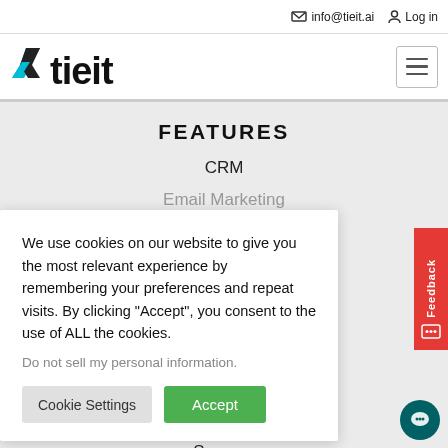info@tieit.ai   Log in
[Figure (logo): Tieit logo with X mark in teal/blue and black text 'tieit']
FEATURES
CRM
Email Marketing
We use cookies on our website to give you the most relevant experience by remembering your preferences and repeat visits. By clicking "Accept", you consent to the use of ALL the cookies.
Do not sell my personal information.
Cookie Settings   Accept
Surveys